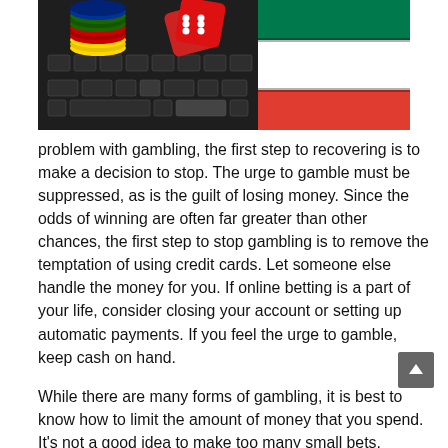[Figure (photo): Photo showing casino chips, red dice on a keyboard/laptop, and a South African flag in the background.]
problem with gambling, the first step to recovering is to make a decision to stop. The urge to gamble must be suppressed, as is the guilt of losing money. Since the odds of winning are often far greater than other chances, the first step to stop gambling is to remove the temptation of using credit cards. Let someone else handle the money for you. If online betting is a part of your life, consider closing your account or setting up automatic payments. If you feel the urge to gamble, keep cash on hand.
While there are many forms of gambling, it is best to know how to limit the amount of money that you spend. It's not a good idea to make too many small bets. Rather, focus on a strategy that will help you reach your goal. You can also reduce the risks of excessive gambling by taking part in charity and fundraising events. If you're serious about giving up the game, you will need to find a way to quit...